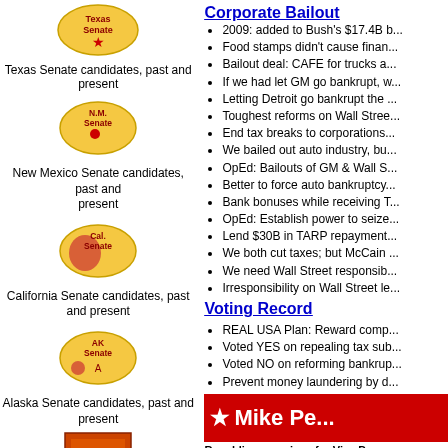[Figure (illustration): Texas Senate candidates badge/logo - US map shape with star]
Texas Senate candidates, past and present
[Figure (illustration): N.M. Senate candidates badge/logo - US map shape]
New Mexico Senate candidates, past and present
[Figure (illustration): Cal. Senate candidates badge/logo - US map shape]
California Senate candidates, past and present
[Figure (illustration): AK Senate candidates badge/logo - US map shape]
Alaska Senate candidates, past and present
[Figure (illustration): Book cover: Saving Capitalism, by Robert B. Reich]
Saving Capitalism, by Robert B. Reich
[Figure (illustration): Book cover: Profiles in Character]
Corporate Bailout
2009: added to Bush's $17.4B b...
Food stamps didn't cause finan...
Bailout deal: CAFE for trucks a...
If we had let GM go bankrupt, w...
Letting Detroit go bankrupt the ...
Toughest reforms on Wall Stree...
End tax breaks to corporations...
We bailed out auto industry, bu...
OpEd: Bailouts of GM & Wall S...
Better to force auto bankruptcy...
Bank bonuses while receiving T...
OpEd: Establish power to seize...
Lend $30B in TARP repayment...
We both cut taxes; but McCain ...
We need Wall Street responsib...
Irresponsibility on Wall Street le...
Voting Record
REAL USA Plan: Reward comp...
Voted YES on repealing tax sub...
Voted NO on reforming bankrup...
Prevent money laundering by d...
★ Mike Pe...
Republican nominee for Vice Pre...